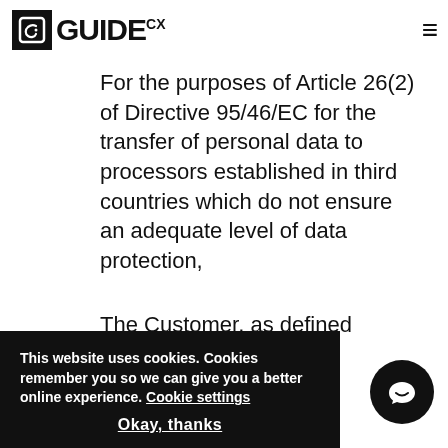GuideCX
For the purposes of Article 26(2) of Directive 95/46/EC for the transfer of personal data to processors established in third countries which do not ensure an adequate level of data protection,
The Customer, as defined
This website uses cookies. Cookies remember you so we can give you a better online experience. Cookie settings
Okay, thanks